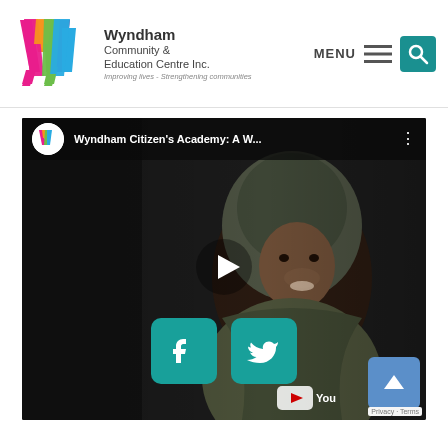[Figure (logo): Wyndham Community & Education Centre Inc. logo with colorful W mark]
Wyndham
Community &
Education Centre Inc.
Improving lives - Strengthening communities
MENU
[Figure (screenshot): YouTube video thumbnail showing a woman wearing a hijab in a dark setting, with play button overlay and social media sharing buttons. Title: Wyndham Citizen's Academy: A W...]
Privacy · Terms